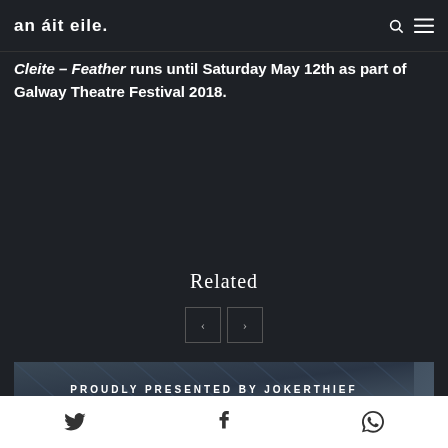an áit eile.
Cleite – Feather runs until Saturday May 12th as part of Galway Theatre Festival 2018.
Related
[Figure (screenshot): Navigation buttons (previous and next arrows) for related content carousel]
[Figure (screenshot): Banner image with text: PROUDLY PRESENTED BY JOKERTHIEF]
Twitter, Facebook, WhatsApp social share icons